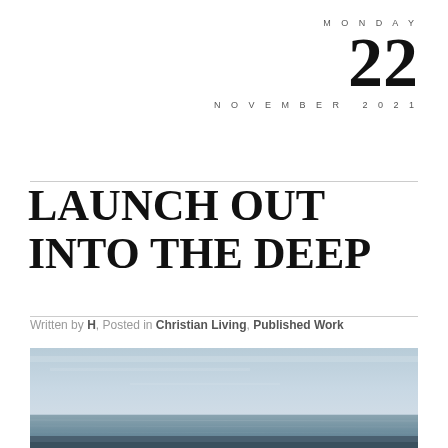MONDAY 22 NOVEMBER 2021
LAUNCH OUT INTO THE DEEP
Written by H, Posted in Christian Living, Published Work
[Figure (photo): Seascape photo showing calm ocean water with a pale blue-grey sky above the horizon]